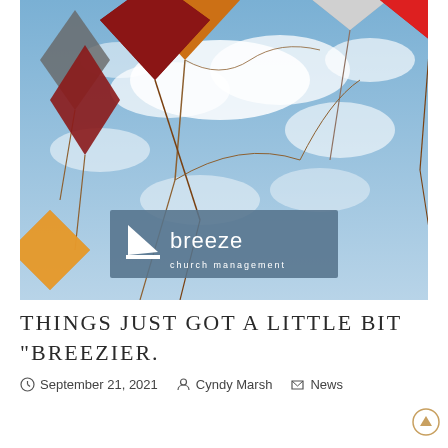[Figure (photo): Colorful kites flying against a partly cloudy blue sky, with a Breeze Church Management logo overlay in the lower center of the image.]
THINGS JUST GOT A LITTLE BIT "BREEZIER.
September 21, 2021   Cyndy Marsh   News